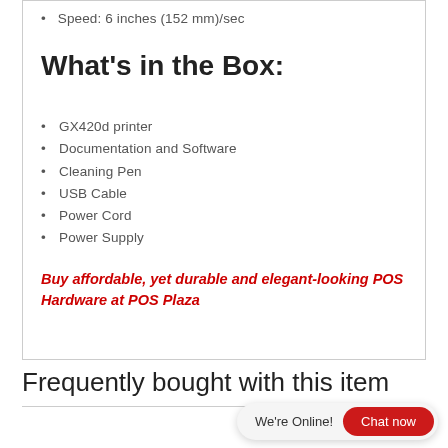Speed: 6 inches (152 mm)/sec
What's in the Box:
GX420d printer
Documentation and Software
Cleaning Pen
USB Cable
Power Cord
Power Supply
Buy affordable, yet durable and elegant-looking POS Hardware at POS Plaza
Frequently bought with this item
We're Online!
Chat now